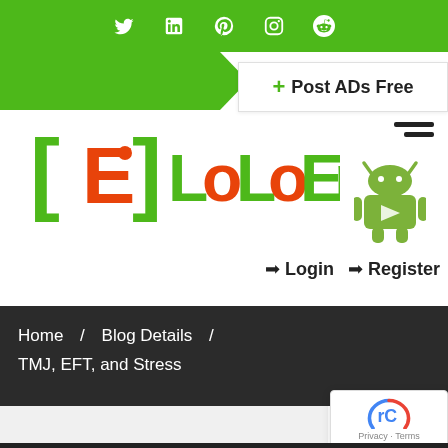[Figure (screenshot): Website header bar with green background and white social media icons: Twitter, LinkedIn, Pinterest, Instagram, Reddit]
[Figure (screenshot): Green arrow/polygon navigation element on left side below header]
[Figure (logo): LoLoEn logo in green and orange bracket style lettering]
[Figure (screenshot): Post ADs Free button with green plus icon on white background, top right]
[Figure (screenshot): Hamburger menu icon (three lines) and Android robot icon on right side]
Login   Register
Home / Blog Details / TMJ, EFT, and Stress
[Figure (screenshot): reCAPTCHA widget box bottom right, showing recaptcha logo and Privacy · Terms text]